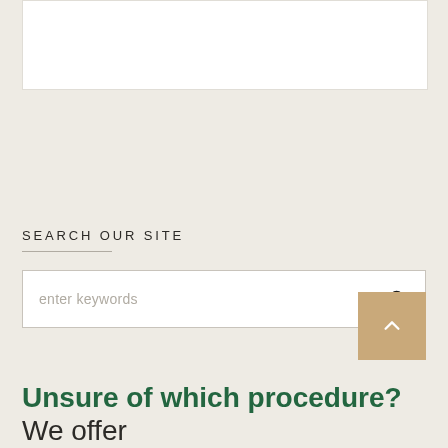[Figure (other): White content box at top of page]
SEARCH OUR SITE
[Figure (other): Search input box with placeholder 'enter keywords' and a search icon on the right]
[Figure (other): Tan/beige scroll-to-top button with upward chevron arrow]
Unsure of which procedure? We offer